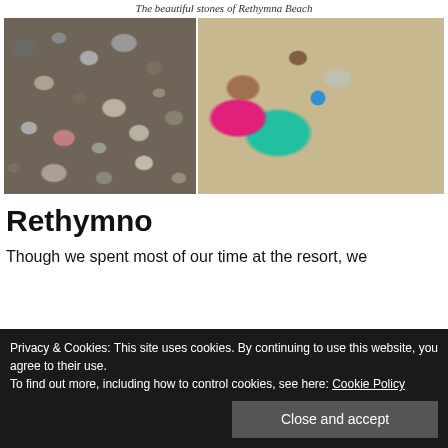The beautiful stones of Rethymna Beach
[Figure (photo): Two side-by-side beach photos: left shows close-up of pebbles and stones on Rethymna Beach; right shows trash and litter items (pink cap, turquoise coil, medicine blister pack, pen) on sandy beach.]
Rethymno
Though we spent most of our time at the resort, we
Privacy & Cookies: This site uses cookies. By continuing to use this website, you agree to their use. To find out more, including how to control cookies, see here: Cookie Policy